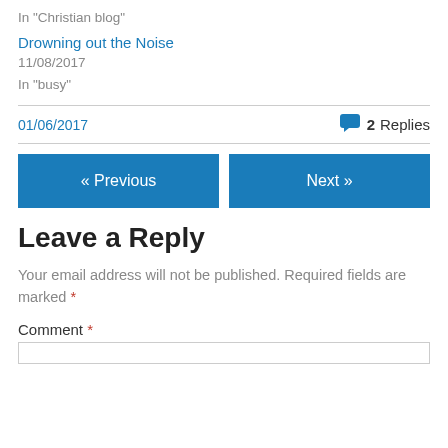In "Christian blog"
Drowning out the Noise
11/08/2017
In "busy"
01/06/2017    💬 2 Replies
« Previous
Next »
Leave a Reply
Your email address will not be published. Required fields are marked *
Comment *